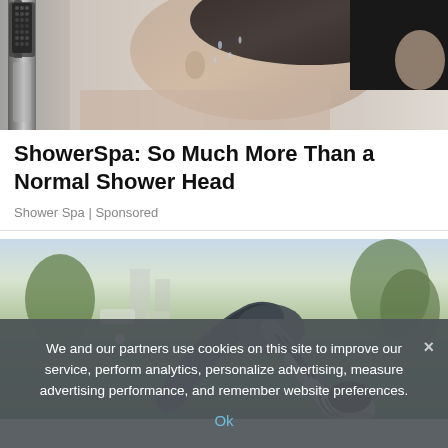[Figure (photo): Close-up photo of a person's face in profile washing their hair, with a shower head device visible on the left side]
ShowerSpa: So Much More Than a Normal Shower Head
Shower Spa | Sponsored
[Figure (photo): Photo of a person in dark athletic wear performing a yoga backbend pose outdoors on green grass]
We and our partners use cookies on this site to improve our service, perform analytics, personalize advertising, measure advertising performance, and remember website preferences.
Ok